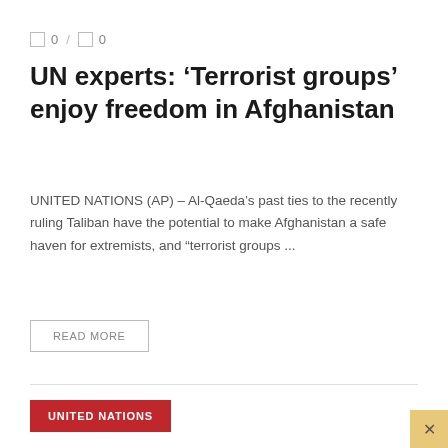□ 0 / □ 0
UN experts: ‘Terrorist groups’ enjoy freedom in Afghanistan
UNITED NATIONS (AP) – Al-Qaeda’s past ties to the recently ruling Taliban have the potential to make Afghanistan a safe haven for extremists, and “terrorist groups ...
READ MORE
UNITED NATIONS